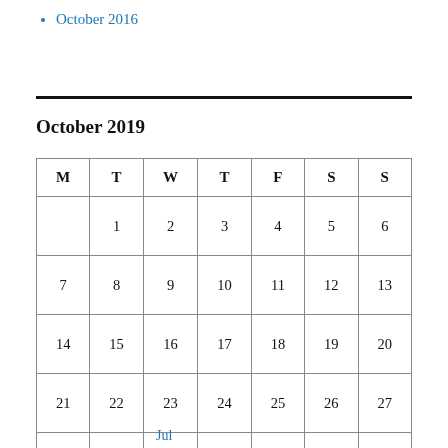October 2016
October 2019
| M | T | W | T | F | S | S |
| --- | --- | --- | --- | --- | --- | --- |
|  | 1 | 2 | 3 | 4 | 5 | 6 |
| 7 | 8 | 9 | 10 | 11 | 12 | 13 |
| 14 | 15 | 16 | 17 | 18 | 19 | 20 |
| 21 | 22 | 23 | 24 | 25 | 26 | 27 |
| 28 | 29 | 30 | 31 |  |  |  |
|  |  |  |  |  |  |  |